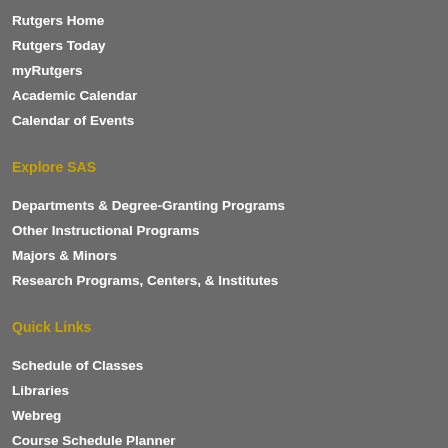Rutgers Home
Rutgers Today
myRutgers
Academic Calendar
Calendar of Events
Explore SAS
Departments & Degree-Granting Programs
Other Instructional Programs
Majors & Minors
Research Programs, Centers, & Institutes
Quick Links
Schedule of Classes
Libraries
Webreg
Course Schedule Planner